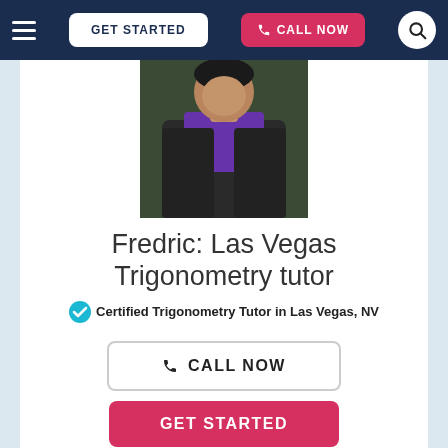GET STARTED | CALL NOW
[Figure (photo): Profile photo of Fredric, a man wearing a purple shirt and dark vest jacket]
Fredric: Las Vegas Trigonometry tutor
Certified Trigonometry Tutor in Las Vegas, NV
CALL NOW
GET STARTED